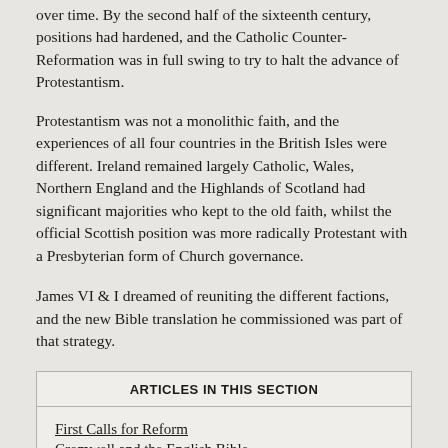over time. By the second half of the sixteenth century, positions had hardened, and the Catholic Counter-Reformation was in full swing to try to halt the advance of Protestantism.
Protestantism was not a monolithic faith, and the experiences of all four countries in the British Isles were different. Ireland remained largely Catholic, Wales, Northern England and the Highlands of Scotland had significant majorities who kept to the old faith, whilst the official Scottish position was more radically Protestant with a Presbyterian form of Church governance.
James VI & I dreamed of reuniting the different factions, and the new Bible translation he commissioned was part of that strategy.
ARTICLES IN THIS SECTION
First Calls for Reform
Cromwell and the English Bible
James V: Religion and Reform
King James VI & I and the Bible